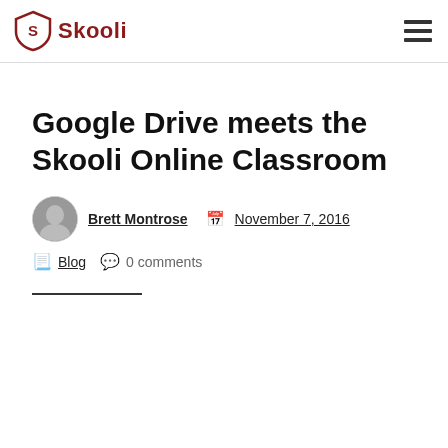Skooli
Google Drive meets the Skooli Online Classroom
Brett Montrose   November 7, 2016
Blog   0 comments